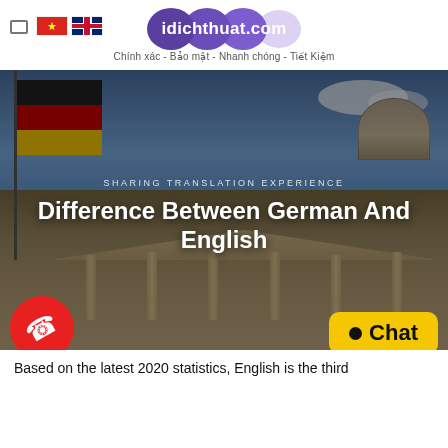idichthuat.com — Chính xác - Bảo mật - Nhanh chóng - Tiết Kiệm
[Figure (screenshot): Hero banner image showing the Reichstag building in Berlin with a German flag in the foreground and blue sky with clouds. Overlaid text reads: SHARING TRANSLATION EXPERIENCE / Difference Between German And English]
Difference Between German And English
[Figure (illustration): Red circular phone button icon on the left; yellow Chat button on the right]
Based on the latest 2020 statistics, English is the third